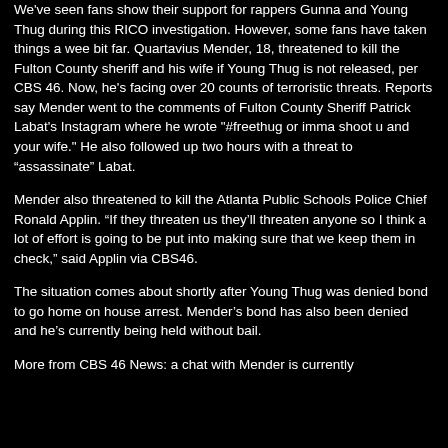We've seen fans show their support for rappers Gunna and Young Thug during this RICO investigation. However, some fans have taken things a wee bit far. Quartavius Mender, 18, threatened to kill the Fulton County sheriff and his wife if Young Thug is not released, per CBS 46. Now, he's facing over 20 counts of terroristic threats. Reports say Mender went to the comments of Fulton County Sheriff Patrick Labat's Instagram where he wrote "#freethug or imma shoot u and your wife." He also followed up two hours with a threat to “assassinate” Labat.
Mender also threatened to kill the Atlanta Public Schools Police Chief Ronald Applin. “If they threaten us they’ll threaten anyone so I think a lot of effort is going to be put into making sure that we keep them in check,” said Applin via CBS46.
The situation comes about shortly after Young Thug was denied bond to go home on house arrest. Mender’s bond has also been denied and he’s currently being held without bail.
More from CBS 46 News: a chat with Mender is currently...